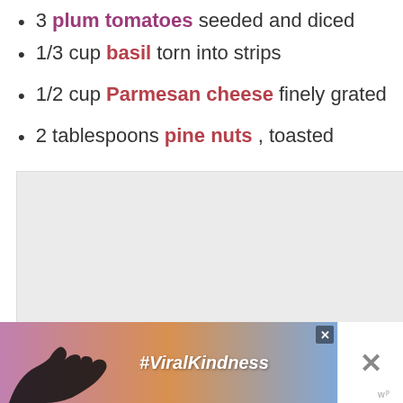3 plum tomatoes seeded and diced
1/3 cup basil torn into strips
1/2 cup Parmesan cheese finely grated
2 tablespoons pine nuts , toasted
[Figure (screenshot): Gray placeholder content area with loading dots, likely an advertisement placeholder]
[Figure (screenshot): Social sharing UI: teal heart button with 648 likes count, share button]
[Figure (screenshot): What's Next card showing Sage Parsnip Risotto with food thumbnail]
[Figure (screenshot): Bottom advertisement banner showing #ViralKindness with heart hands silhouette, close button, and X button on right]